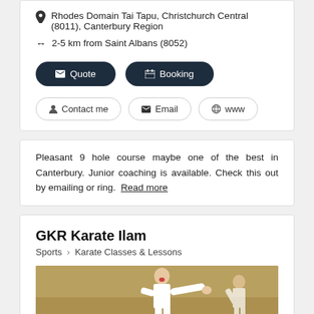Rhodes Domain Tai Tapu, Christchurch Central (8011), Canterbury Region
2-5 km from Saint Albans (8052)
Quote
Booking
Contact me
Email
www
Pleasant 9 hole course maybe one of the best in Canterbury. Junior coaching is available. Check this out by emailing or ring.  Read more
GKR Karate Ilam
Sports > Karate Classes & Lessons
[Figure (photo): Photo of a karate practitioner in white gi performing a technique]